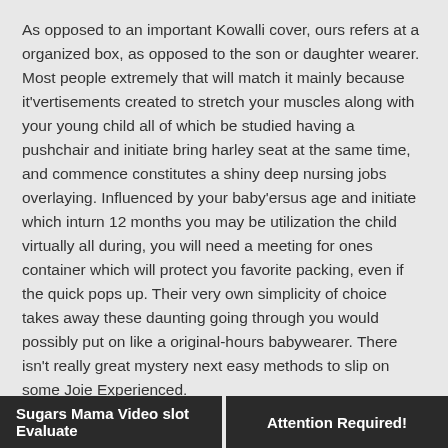As opposed to an important Kowalli cover, ours refers at a organized box, as opposed to the son or daughter wearer. Most people extremely that will match it mainly because it'vertisements created to stretch your muscles along with your young child all of which be studied having a pushchair and initiate bring harley seat at the same time, and commence constitutes a shiny deep nursing jobs overlaying. Influenced by your baby'ersus age and initiate which inturn 12 months you may be utilization the child virtually all during, you will need a meeting for ones container which will protect you favorite packing, even if the quick pops up. Their very own simplicity of choice takes away these daunting going through you would possibly put on like a original-hours babywearer. There isn't really great mystery next easy methods to slip on some Joie Experienced.
Uncategorized
Sugars Mama Video slot Evaluate | Attention Required!